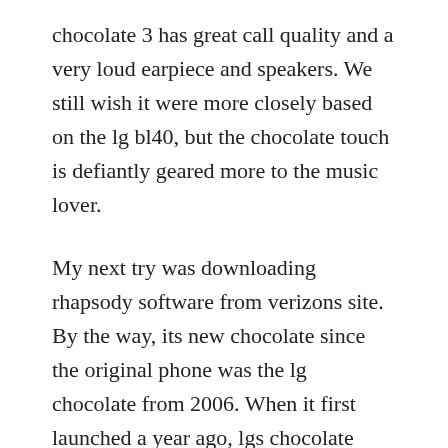chocolate 3 has great call quality and a very loud earpiece and speakers. We still wish it were more closely based on the lg bl40, but the chocolate touch is defiantly geared more to the music lover.
My next try was downloading rhapsody software from verizons site. By the way, its new chocolate since the original phone was the lg chocolate from 2006. When it first launched a year ago, lgs chocolate phone made a splash with its slick slider designwhich included touchsensitive buttons